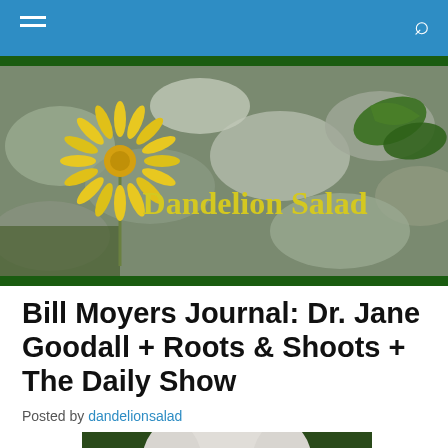Navigation bar with hamburger menu and search icon
[Figure (illustration): Dandelion Salad website banner showing a yellow dandelion flower against rocky background with green leaves, with site title 'Dandelion Salad' in yellow text]
Bill Moyers Journal: Dr. Jane Goodall + Roots & Shoots + The Daily Show
Posted by dandelionsalad
[Figure (photo): Partial portrait photograph of a person with white/grey hair, cropped at bottom of page]